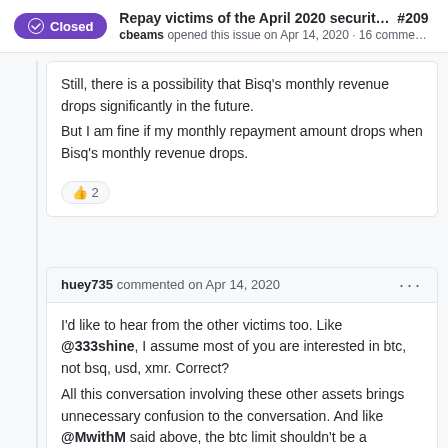Repay victims of the April 2020 securit... #209 — cbeams opened this issue on Apr 14, 2020 · 16 comme... — Closed
Still, there is a possibility that Bisq's monthly revenue drops significantly in the future.
But I am fine if my monthly repayment amount drops when Bisq's monthly revenue drops.
👍 2
huey735 commented on Apr 14, 2020
I'd like to hear from the other victims too. Like @333shine, I assume most of you are interested in btc, not bsq, usd, xmr. Correct?
All this conversation involving these other assets brings unnecessary confusion to the conversation. And like @MwithM said above, the btc limit shouldn't be a percentage but rather an amount. If we agree to reimbursing the victims, anything but essential expenses should be directed to them.